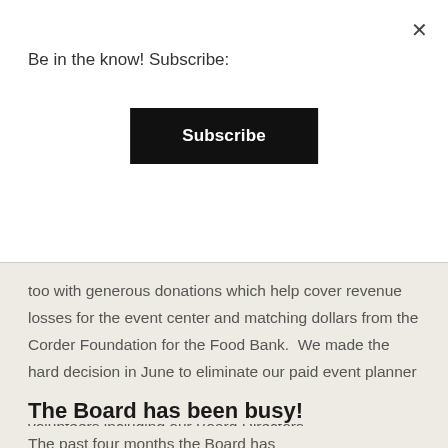Be in the know! Subscribe:
Subscribe
too with generous donations which help cover revenue losses for the event center and matching dollars from the Corder Foundation for the Food Bank.  We made the hard decision in June to eliminate our paid event planner position.  We are now opening the buildings with volunteers including our Board Directors.
The Board has been busy!
The past four months the Board has accomplished a lot!  As you knowwe had an